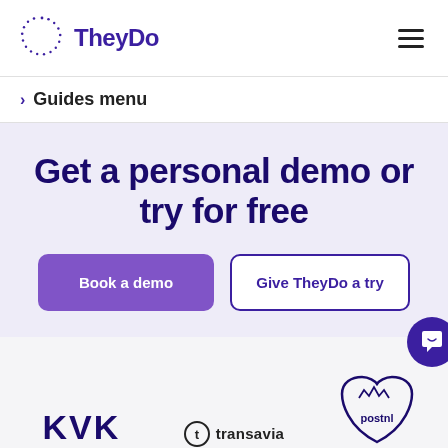TheyDo
Guides menu
Get a personal demo or try for free
Book a demo
Give TheyDo a try
[Figure (logo): KVK logo in dark purple bold text]
[Figure (logo): Transavia logo with circular T icon and text]
[Figure (logo): PostNL logo inside a heart/shield outline shape]